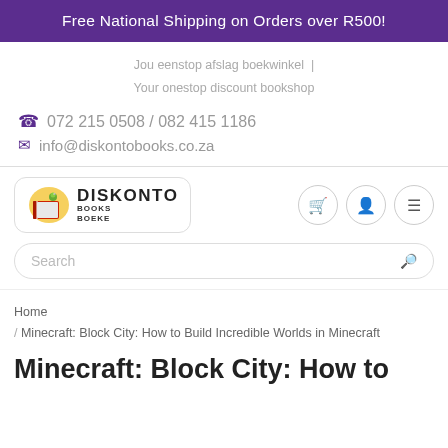Free National Shipping on Orders over R500!
Jou eenstop afslag boekwinkel | Your onestop discount bookshop
072 215 0508 / 082 415 1186
info@diskontobooks.co.za
[Figure (logo): Diskonto Books Boeke logo with red book and worm illustration]
Search
Home / Minecraft: Block City: How to Build Incredible Worlds in Minecraft
Minecraft: Block City: How to